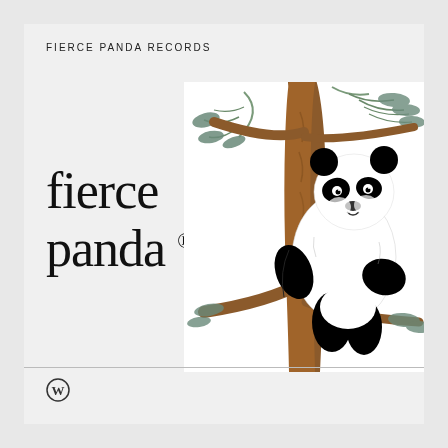FIERCE PANDA RECORDS
[Figure (illustration): A giant panda illustrated in black and white ink, clinging to a brown tree trunk with pine branches extending left and right against a white background. The panda faces left with its body wrapping around the trunk. Classic natural history illustration style.]
fierce panda ®
[Figure (logo): WordPress logo (circular 'W' mark) in the page footer]